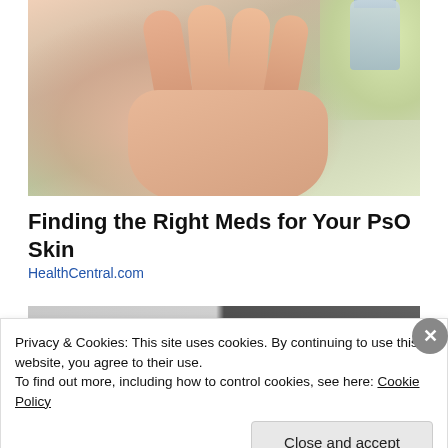[Figure (photo): Close-up photo of a hand with palm open, with a small glass dropper/vial being held above it, on a light green background]
Finding the Right Meds for Your PsO Skin
HealthCentral.com
[Figure (photo): Partially visible second image strip showing two images side by side]
Privacy & Cookies: This site uses cookies. By continuing to use this website, you agree to their use.
To find out more, including how to control cookies, see here: Cookie Policy
Close and accept